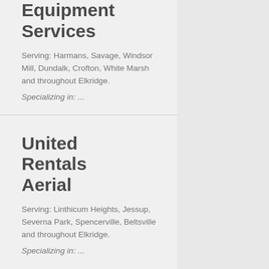Equipment Services
Serving: Harmans, Savage, Windsor Mill, Dundalk, Crofton, White Marsh and throughout Elkridge.
Specializing in: ...
United Rentals Aerial
Serving: Linthicum Heights, Jessup, Severna Park, Spencerville, Beltsville and throughout Elkridge.
Specializing in: ...
Elkridge Boom Lift Rental